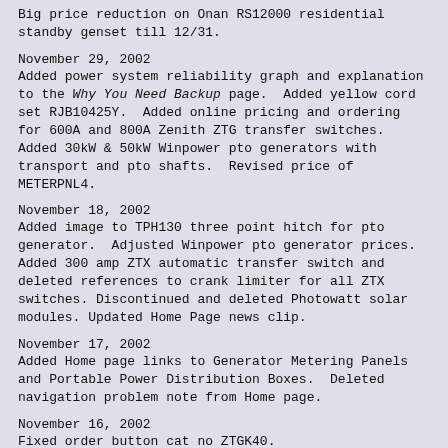Big price reduction on Onan RS12000 residential standby genset till 12/31.
November 29, 2002
Added power system reliability graph and explanation to the Why You Need Backup page.  Added yellow cord set RJB10425Y.  Added online pricing and ordering for 600A and 800A Zenith ZTG transfer switches.  Added 30kW & 50kW Winpower pto generators with transport and pto shafts.  Revised price of METERPNL4.
November 18, 2002
Added image to TPH130 three point hitch for pto generator.  Adjusted Winpower pto generator prices.  Added 300 amp ZTX automatic transfer switch and deleted references to crank limiter for all ZTX switches.  Discontinued and deleted Photowatt solar modules.  Updated Home Page news clip.
November 17, 2002
Added Home page links to Generator Metering Panels and Portable Power Distribution Boxes.  Deleted navigation problem note from Home page.
November 16, 2002
Fixed order button cat no ZTGK40.
November 12, 2002
Changed default shared borders to remove left menu bar.  Added left menu bar for these pages: Home, What's New,